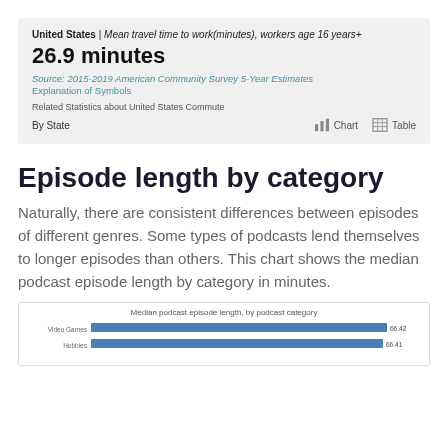[Figure (infographic): Info box showing: United States | Mean travel time to work(minutes), workers age 16 years+ = 26.9 minutes. Source: 2015-2019 American Community Survey 5-Year Estimates. Explanation of Symbols. Related Statistics about United States Commute. By State, Chart, Table buttons.]
Episode length by category
Naturally, there are consistent differences between episodes of different genres. Some types of podcasts lend themselves to longer episodes than others. This chart shows the median podcast episode length by category in minutes.
[Figure (bar-chart): Median podcast episode length, by podcast category]